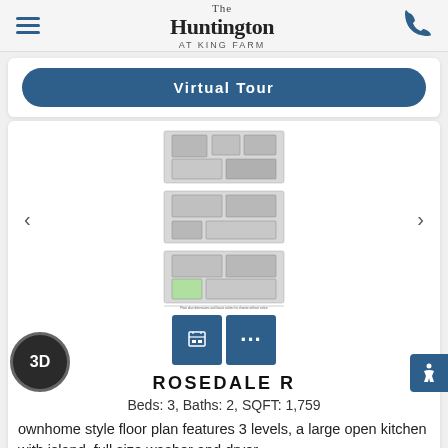The Huntington AT KING FARM
Virtual Tour
[Figure (floorplan): 3-level townhome style floor plan showing three stacked floor layouts with rooms labeled]
ROSEDALE R
Beds: 3, Baths: 2, SQFT: 1,759
Townhome style floor plan features 3 levels, a large open kitchen with island, full size washer and dryer,